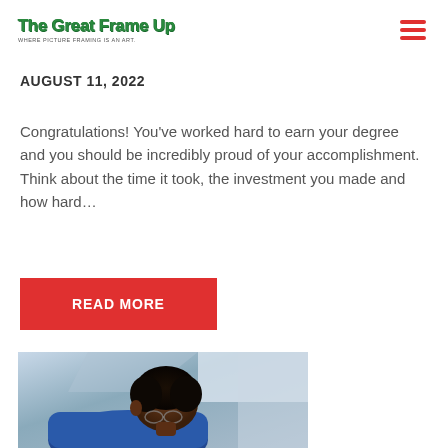The Great Frame Up — WHERE PICTURE FRAMING IS AN ART.
AUGUST 11, 2022
Congratulations! You've worked hard to earn your degree and you should be incredibly proud of your accomplishment.  Think about the time it took, the investment you made and how hard…
READ MORE
[Figure (photo): A person with dark curly hair bending down, wearing a blue shirt and glasses, photographed from above/side angle against a light background.]